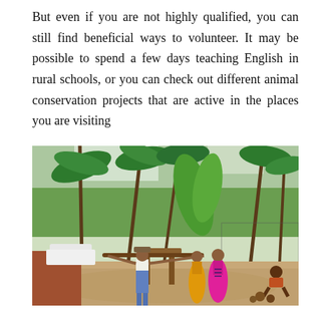But even if you are not highly qualified, you can still find beneficial ways to volunteer. It may be possible to spend a few days teaching English in rural schools, or you can check out different animal conservation projects that are active in the places you are visiting
[Figure (photo): Outdoor scene in a tropical setting with palm trees and lush greenery. Several people are visible: a person in blue patterned clothing balancing something on their head, a person in a pink/magenta sari standing near a wooden structure, another person in an orange/yellow outfit, and a person sitting on the right side. The ground is sandy/earthy and there is a white vehicle visible in the background.]